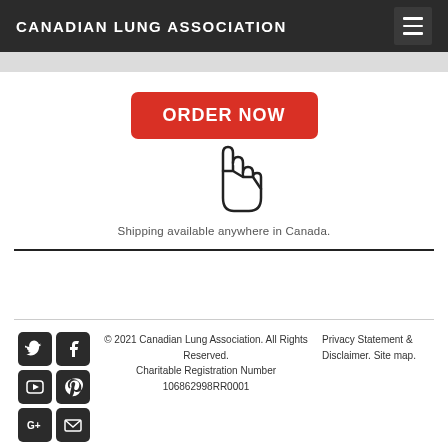CANADIAN LUNG ASSOCIATION
[Figure (illustration): Red ORDER NOW button with a hand cursor pointer icon beneath it]
Shipping available anywhere in Canada.
© 2021 Canadian Lung Association. All Rights Reserved. Charitable Registration Number 106862998RR0001
Privacy Statement & Disclaimer. Site map.